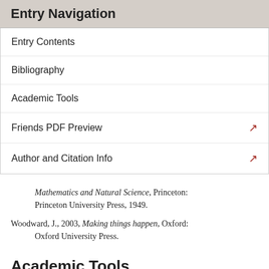Entry Navigation
Entry Contents
Bibliography
Academic Tools
Friends PDF Preview
Author and Citation Info
Mathematics and Natural Science, Princeton: Princeton University Press, 1949.
Woodward, J., 2003, Making things happen, Oxford: Oxford University Press.
Academic Tools
How to cite this entry.